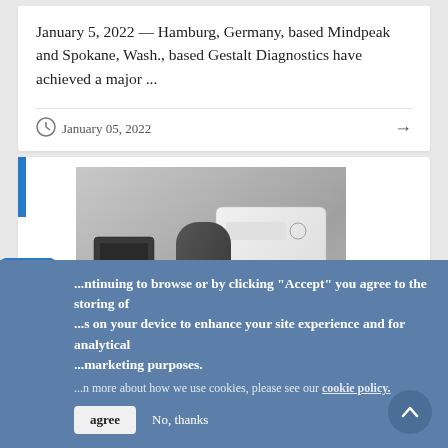January 5, 2022 — Hamburg, Germany, based Mindpeak and Spokane, Wash., based Gestalt Diagnostics have achieved a major ...
January 05, 2022
[Figure (photo): Photo of medical diagnostic equipment including a white analyzer unit and dark colored peripheral devices on a gray background]
...ntinuing to browse or by clicking "Accept" you agree to the storing of ...s on your device to enhance your site experience and for analytical ...marketing purposes.
...n more about how we use cookies, please see our cookie policy.
agree   No, thanks